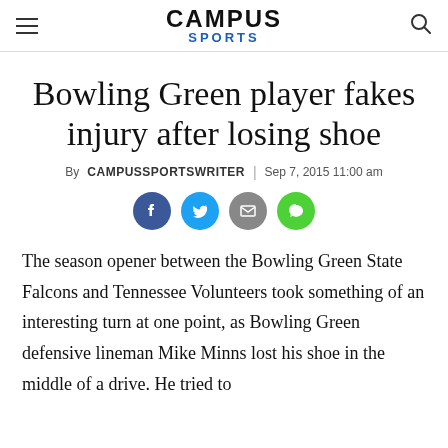CAMPUS SPORTS
Bowling Green player fakes injury after losing shoe
By CAMPUSSPORTSWRITER | Sep 7, 2015 11:00 am
[Figure (infographic): Social sharing icons: Facebook (blue), Twitter (cyan), Email (grey), Comment (green)]
The season opener between the Bowling Green State Falcons and Tennessee Volunteers took something of an interesting turn at one point, as Bowling Green defensive lineman Mike Minns lost his shoe in the middle of a drive. He tried to